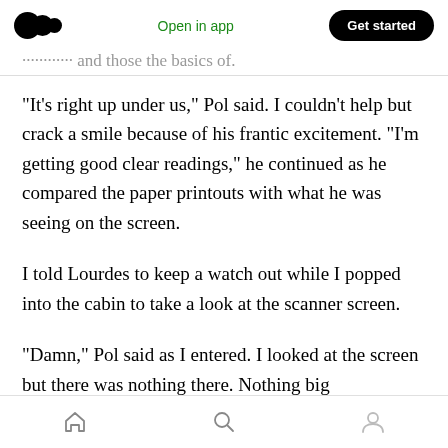Medium app header — Open in app | Get started
…………… and those the basics of.
“It’s right up under us,” Pol said. I couldn’t help but crack a smile because of his frantic excitement. “I’m getting good clear readings,” he continued as he compared the paper printouts with what he was seeing on the screen.
I told Lourdes to keep a watch out while I popped into the cabin to take a look at the scanner screen.
“Damn,” Pol said as I entered. I looked at the screen but there was nothing there. Nothing big
Home | Search | Profile